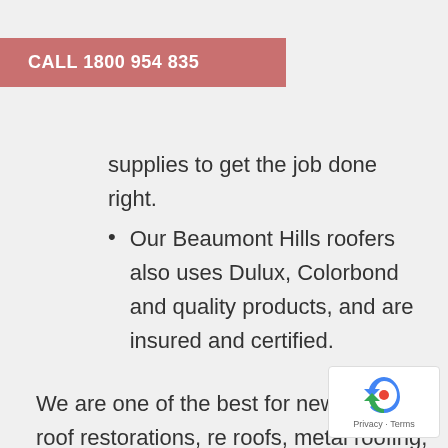CALL 1800 954 835
supplies to get the job done right.
Our Beaumont Hills roofers also uses Dulux, Colorbond and quality products, and are insured and certified.
We are one of the best for new roofs, roof restorations, re roofs, metal roofing, Colorbond roofing, roof repairs, roof replacement,